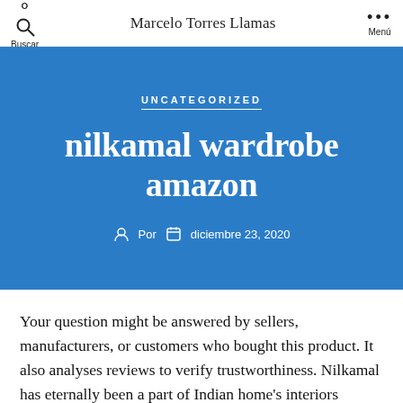Buscar  Marcelo Torres Llamas  Menú
UNCATEGORIZED
nilkamal wardrobe amazon
Por  diciembre 23, 2020
Your question might be answered by sellers, manufacturers, or customers who bought this product. It also analyses reviews to verify trustworthiness. Nilkamal has eternally been a part of Indian home's interiors knowingly or unknowingly taking space in the form of may be